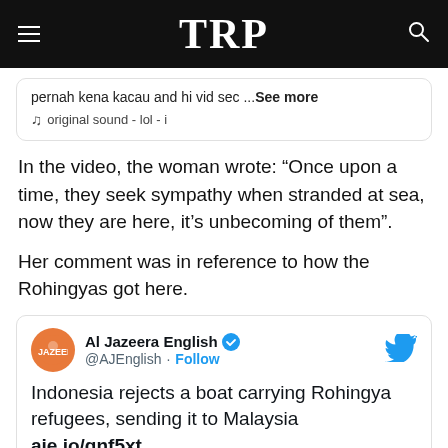TRP
pernah kena kacau and hi vid sec ...See more
♫  original sound - lol - i
In the video, the woman wrote: “Once upon a time, they seek sympathy when stranded at sea, now they are here, it’s unbecoming of them”.
Her comment was in reference to how the Rohingyas got here.
[Figure (screenshot): Tweet from Al Jazeera English (@AJEnglish) with blue verified badge and Twitter bird icon. Text reads: Indonesia rejects a boat carrying Rohingya refugees, sending it to Malaysia. aje.io/gnf5xt]